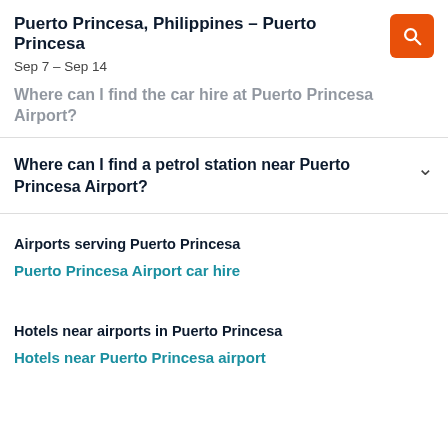Puerto Princesa, Philippines – Puerto Princesa
Sep 7 – Sep 14
Where can I find the car hire at Puerto Princesa Airport?
Where can I find a petrol station near Puerto Princesa Airport?
Airports serving Puerto Princesa
Puerto Princesa Airport car hire
Hotels near airports in Puerto Princesa
Hotels near Puerto Princesa airport